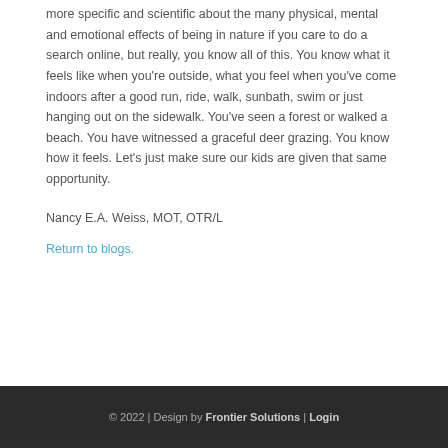more specific and scientific about the many physical, mental and emotional effects of being in nature if you care to do a search online, but really, you know all of this. You know what it feels like when you're outside, what you feel when you've come indoors after a good run, ride, walk, sunbath, swim or just hanging out on the sidewalk. You've seen a forest or walked a beach. You have witnessed a graceful deer grazing. You know how it feels. Let's just make sure our kids are given that same opportunity.
Nancy E.A. Weiss, MOT, OTR/L
Return to blogs.
© 2022 | Design by Frontier Solutions | Login